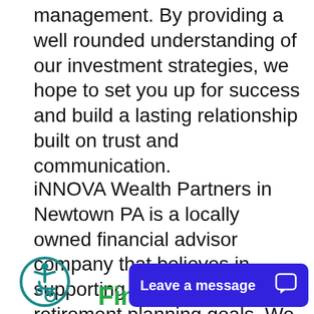management. By providing a well rounded understanding of our investment strategies, we hope to set you up for success and build a lasting relationship built on trust and communication.
iNNOVA Wealth Partners in Newtown PA is a locally owned financial advisor company that believes in supporting its members' retirement planning goals. We accomplish this through a series of steps including client education, communication, research, planning, and implementation.
[Figure (logo): Accessibility icon — circular teal logo with a person in a wheelchair symbol]
Financial
[Figure (screenshot): Blue chat button with text 'Leave a message' and a chat bubble icon on the right]